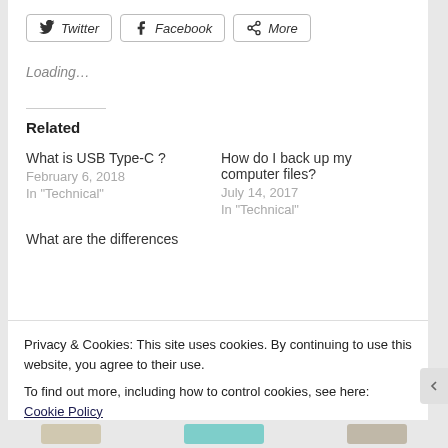Twitter  Facebook  More
Loading...
Related
What is USB Type-C ?
February 6, 2018
In "Technical"
How do I back up my computer files?
July 14, 2017
In "Technical"
What are the differences
Privacy & Cookies: This site uses cookies. By continuing to use this website, you agree to their use.
To find out more, including how to control cookies, see here: Cookie Policy
Close and accept